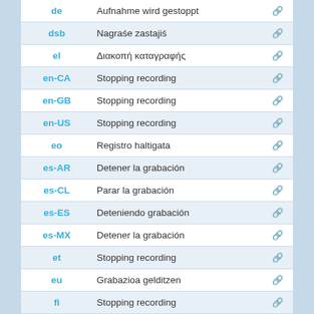| Language | Text | Icon |
| --- | --- | --- |
| de | Aufnahme wird gestoppt | 🔗 |
| dsb | Nagraśe zastajiś | 🔗 |
| el | Διακοπή καταγραφής | 🔗 |
| en-CA | Stopping recording | 🔗 |
| en-GB | Stopping recording | 🔗 |
| en-US | Stopping recording | 🔗 |
| eo | Registro haltigata | 🔗 |
| es-AR | Detener la grabación | 🔗 |
| es-CL | Parar la grabación | 🔗 |
| es-ES | Deteniendo grabación | 🔗 |
| es-MX | Detener la grabación | 🔗 |
| et | Stopping recording | 🔗 |
| eu | Grabazioa gelditzen | 🔗 |
| fi | Stopping recording | 🔗 |